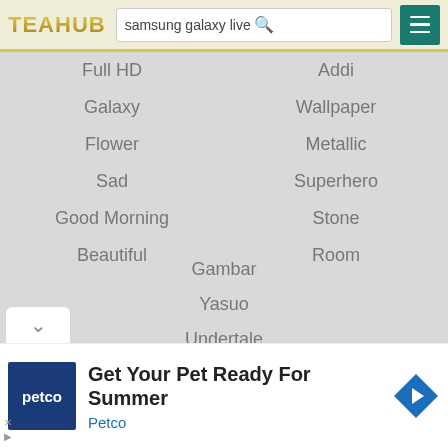[Figure (screenshot): Website header with TEAHUB logo, search bar showing 'samsung galaxy live', search icon, and teal hamburger menu button]
Full HD
Addi
Galaxy
Wallpaper
Flower
Metallic
Sad
Superhero
Good Morning
Stone
Beautiful
Room
Gambar
Yasuo
Undertale
Sasuke
Vegeta
Doraemon
[Figure (other): Petco advertisement: 'Get Your Pet Ready For Summer' with Petco logo and navigation arrow icon]